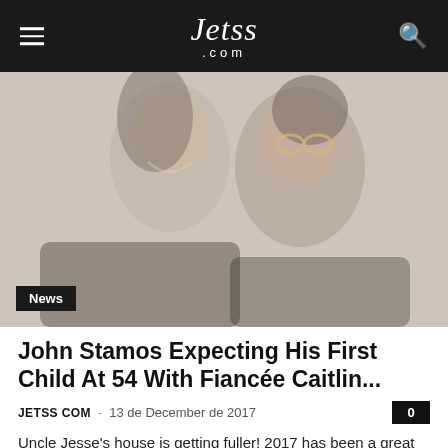Jetss .com
[Figure (photo): A smiling couple posing together — a woman with long dark hair and a man with a beard wearing glasses, photographed at an event. Faded/light-toned celebrity photo.]
John Stamos Expecting His First Child At 54 With Fiancée Caitlin...
JETSS COM – 13 de December de 2017  0
Uncle Jesse's house is getting fuller! 2017 has been a great year for